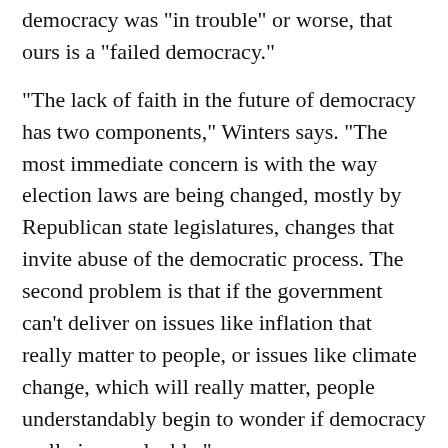democracy was "in trouble" or worse, that ours is a "failed democracy."
"The lack of faith in the future of democracy has two components," Winters says. "The most immediate concern is with the way election laws are being changed, mostly by Republican state legislatures, changes that invite abuse of the democratic process. The second problem is that if the government can't deliver on issues like inflation that really matter to people, or issues like climate change, which will really matter, people understandably begin to wonder if democracy really is so valuable."
More of Winters' column can be read here.
More background: